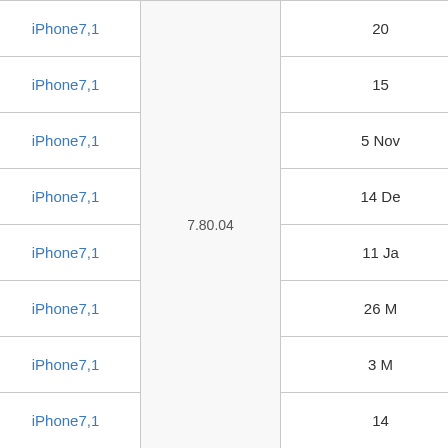|  | Version | Build | Device | Baseband | Date | ... |
| --- | --- | --- | --- | --- | --- | --- |
|  | 12.4.7 | 16G192 | iPhone7,1 | 7.80.04 | 20... |  |
|  | 12.4.8 | 16G201 | iPhone7,1 | 7.80.04 | 15... |  |
|  | 12.4.9 | 16H5 | iPhone7,1 | 7.80.04 | 5 Nov... |  |
|  | 12.5 | 16H20 | iPhone7,1 | 7.80.04 | 14 De... |  |
|  | 12.5.1 | 16H22 | iPhone7,1 | 7.80.04 | 11 Ja... |  |
|  | 12.5.2 | 16H30 | iPhone7,1 | 7.80.04 | 26 M... |  |
|  | 12.5.3 | 16H41 | iPhone7,1 | 7.80.04 | 3 M... |  |
|  | 12.5.4 | 16H50 | iPhone7,1 | 7.80.04 | 14... |  |